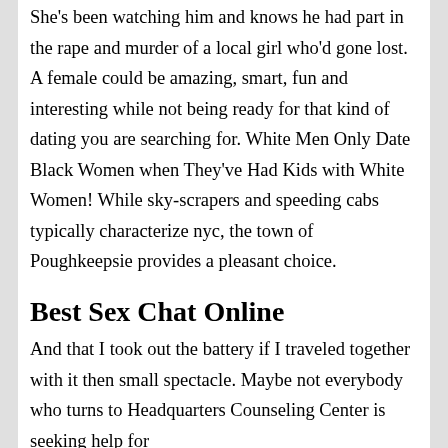She's been watching him and knows he had part in the rape and murder of a local girl who'd gone lost. A female could be amazing, smart, fun and interesting while not being ready for that kind of dating you are searching for. White Men Only Date Black Women when They've Had Kids with White Women! While sky-scrapers and speeding cabs typically characterize nyc, the town of Poughkeepsie provides a pleasant choice.
Best Sex Chat Online
And that I took out the battery if I traveled together with it then small spectacle. Maybe not everybody who turns to Headquarters Counseling Center is seeking help for